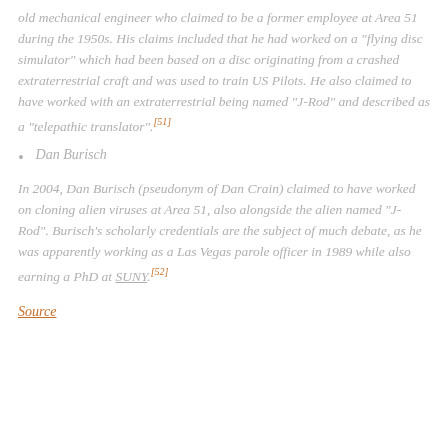old mechanical engineer who claimed to be a former employee at Area 51 during the 1950s. His claims included that he had worked on a "flying disc simulator" which had been based on a disc originating from a crashed extraterrestrial craft and was used to train US Pilots. He also claimed to have worked with an extraterrestrial being named "J-Rod" and described as a "telepathic translator".[51]
Dan Burisch
In 2004, Dan Burisch (pseudonym of Dan Crain) claimed to have worked on cloning alien viruses at Area 51, also alongside the alien named "J-Rod". Burisch's scholarly credentials are the subject of much debate, as he was apparently working as a Las Vegas parole officer in 1989 while also earning a PhD at SUNY.[52]
Source